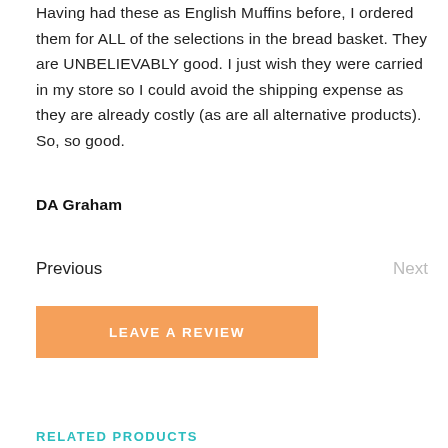Having had these as English Muffins before, I ordered them for ALL of the selections in the bread basket. They are UNBELIEVABLY good. I just wish they were carried in my store so I could avoid the shipping expense as they are already costly (as are all alternative products). So, so good.
DA Graham
Previous
Next
LEAVE A REVIEW
RELATED PRODUCTS